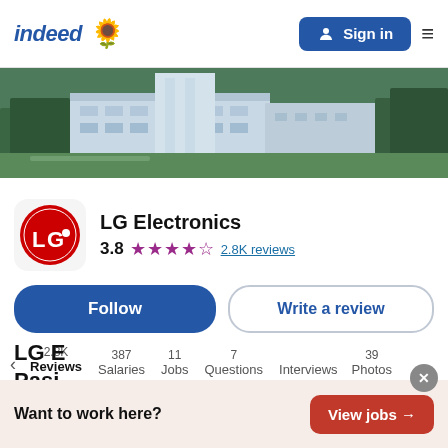indeed | Sign in
[Figure (photo): Aerial view of LG Electronics campus building surrounded by trees]
[Figure (logo): LG Electronics red circular logo with LG letters]
LG Electronics
3.8 ★★★★☆ 2.8K reviews
Follow | Write a review
2.8K Reviews | 387 Salaries | 11 Jobs | 7 Questions | Interviews | 39 Photos
LG E...
Pasi...
Want to work here? View jobs →